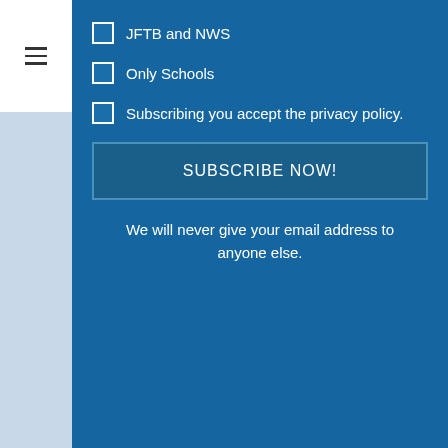JFTB and NWS
Only Schools
Subscribing you accept the privacy policy.
SUBSCRIBE NOW!
We will never give your email address to anyone else.
LOOK FOR US ALL OVER THE WEB
[Figure (illustration): Three social media icons: Facebook (blue), Instagram (grey), Twitter (cyan)]
AVAILABLE FROM AMAZON